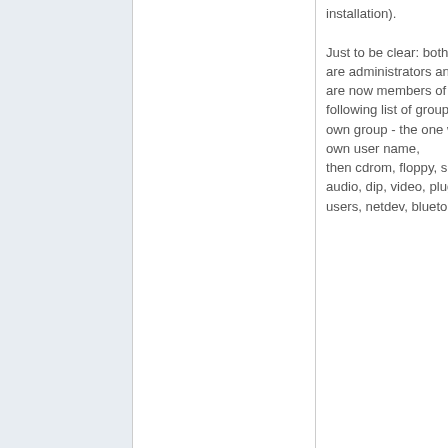installation). Just to be clear: both users are administrators and both are now members of the following list of groups: Their own group - the one with their own user name, then cdrom, floppy, sudo, audio, dip, video, plugdev, users, netdev, bluetooth,